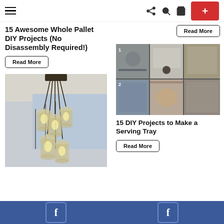Navigation header with hamburger menu, share, search, cart icons, and plus button
15 Awesome Whole Pallet DIY Projects (No Disassembly Required!)
Read More
Read More
[Figure (photo): Photo of mason jar pendant lights hanging from ceiling near a window]
[Figure (photo): Grid collage of 6 DIY serving tray project photos]
15 DIY Projects to Make a Serving Tray
Read More
Facebook share buttons footer bar